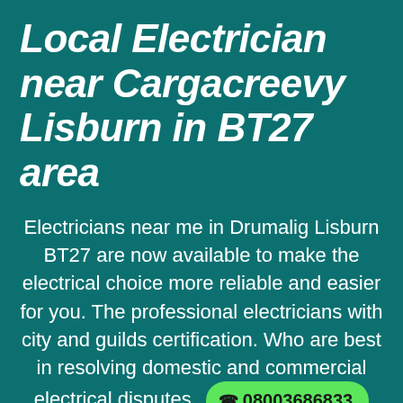Local Electrician near Cargacreevy Lisburn in BT27 area
Electricians near me in Drumalig Lisburn BT27 are now available to make the electrical choice more reliable and easier for you. The professional electricians with city and guilds certification. Who are best in resolving domestic and commercial electrical disputes. 08003686833 waiting for? Visit us now at our main